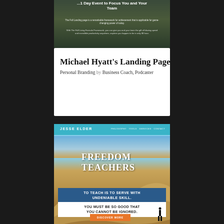[Figure (screenshot): Top portion of a website screenshot with dark green/forest background, white bold title text partially visible reading '...1 Day Event to Focus You and Your Team', with small body text below on a nature/outdoors background]
Michael Hyatt's Landing Page
Personal Branding by Business Coach, Podcaster
[Figure (screenshot): Jesse Elder website screenshot with teal header showing 'JESSE ELDER' in white caps, desert sand dunes background, text 'Freedom Teachers' in large serif, blue banner reading 'TO TEACH IS TO SERVE WITH UNDENIABLE SKILL.', white banner reading 'YOU MUST BE SO GOOD THAT YOU CANNOT BE IGNORED.', orange 'DISCOVER MORE' button, and a small silhouette of a person standing in the dunes]